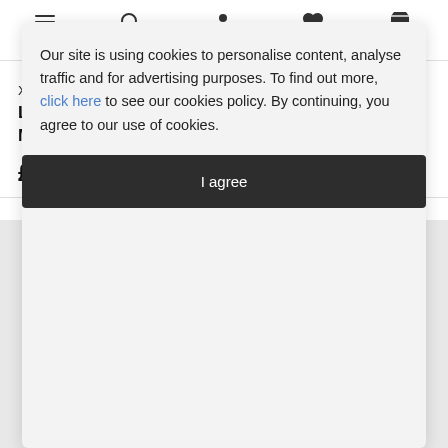Menu  Search  Account  Saved  Basket
Xbox
LIVE Gold 3 Month Member...
£23.99
Our site is using cookies to personalise content, analyse traffic and for advertising purposes. To find out more, click here to see our cookies policy. By continuing, you agree to our use of cookies.
I agree